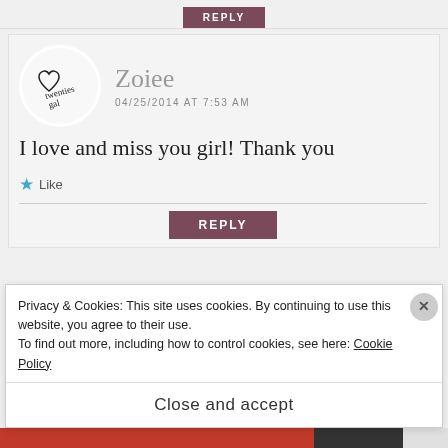REPLY
[Figure (illustration): Circular avatar with handwritten script text reading 'twenties gal' with a small heart]
Zoiee
04/25/2014 AT 7:53 AM
I love and miss you girl! Thank you
★ Like
REPLY
Privacy & Cookies: This site uses cookies. By continuing to use this website, you agree to their use. To find out more, including how to control cookies, see here: Cookie Policy
Close and accept